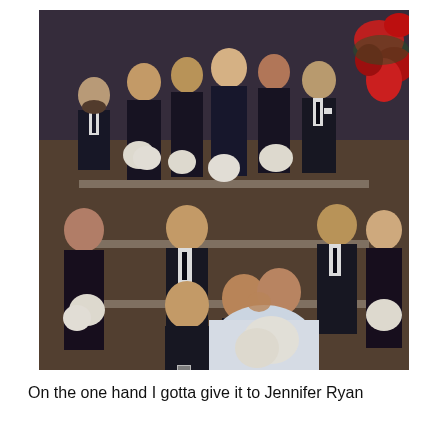[Figure (photo): Wedding party group photo. Bridesmaids in black dresses holding white bouquets, groomsmen in black suits with ties, and a bride and groom kissing in the foreground. The bride is in a white gown holding a white bouquet. Red flowers visible in background on right side.]
On the one hand I gotta give it to Jennifer Ryan